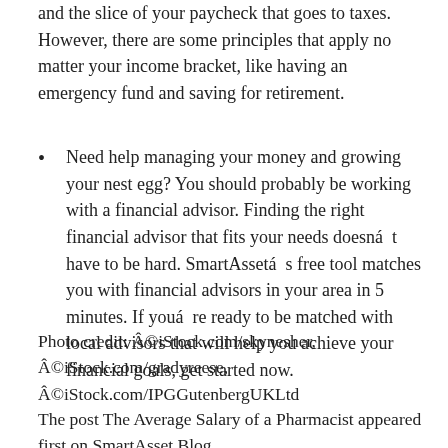and the slice of your paycheck that goes to taxes. However, there are some principles that apply no matter your income bracket, like having an emergency fund and saving for retirement.
Need help managing your money and growing your nest egg? You should probably be working with a financial advisor. Finding the right financial advisor that fits your needs doesnât have to be hard. SmartAssetâs free tool matches you with financial advisors in your area in 5 minutes. If youâre ready to be matched with local advisors that will help you achieve your financial goals, get started now.
Photo credit: Â©iStock.com/skynesher, Â©iStock.com/gradyreese, Â©iStock.com/IPGGutenbergUKLtd
The post The Average Salary of a Pharmacist appeared first on SmartAsset Blog.